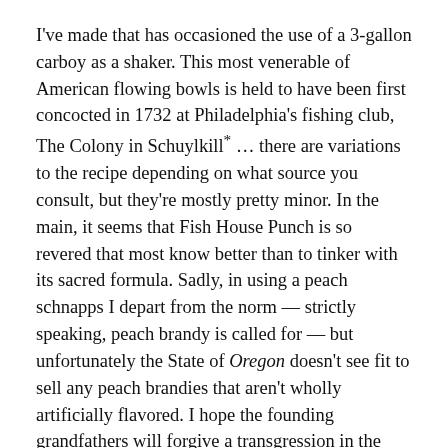I've made that has occasioned the use of a 3-gallon carboy as a shaker. This most venerable of American flowing bowls is held to have been first concocted in 1732 at Philadelphia's fishing club, The Colony in Schuylkill* … there are variations to the recipe depending on what source you consult, but they're mostly pretty minor. In the main, it seems that Fish House Punch is so revered that most know better than to tinker with its sacred formula. Sadly, in using a peach schnapps I depart from the norm — strictly speaking, peach brandy is called for — but unfortunately the State of Oregon doesn't see fit to sell any peach brandies that aren't wholly artificially flavored. I hope the founding grandfathers will forgive a transgression in the interest of verity over verisimilitude.
25 oz. Jamaican rum
25 oz. gold rum